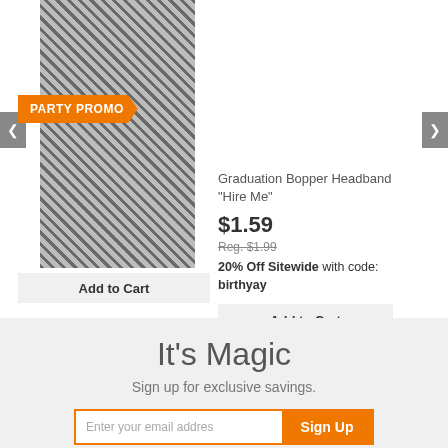[Figure (photo): Product photo of a beaded necklace with black and grey beads, with an orange 'PARTY PROMO' badge overlay]
Add to Cart
Graduation Bopper Headband "Hire Me"
$1.59
Reg. $1.99
20% Off Sitewide with code: birthyay
Add to Cart
It's Magic
Sign up for exclusive savings.
Enter your email addres
Sign Up